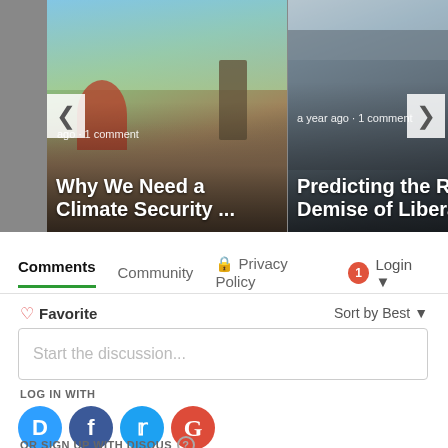[Figure (photo): Article card 1: Photo of people in a rural/muddy setting with text overlay 'Why We Need a Climate Security ...' and meta 'ago · 1 comment']
[Figure (photo): Article card 2: Photo of crowd at a protest/rally with flags, text overlay 'Predicting the Rise and Demise of Liberal ...' and meta 'a year ago · 1 comment']
Comments   Community   🔒 Privacy Policy   1   Login ▾
♡ Favorite
Sort by Best ▾
Start the discussion...
LOG IN WITH
OR SIGN UP WITH DISQUS ?